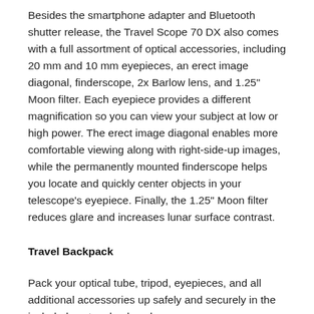Besides the smartphone adapter and Bluetooth shutter release, the Travel Scope 70 DX also comes with a full assortment of optical accessories, including 20 mm and 10 mm eyepieces, an erect image diagonal, finderscope, 2x Barlow lens, and 1.25" Moon filter. Each eyepiece provides a different magnification so you can view your subject at low or high power. The erect image diagonal enables more comfortable viewing along with right-side-up images, while the permanently mounted finderscope helps you locate and quickly center objects in your telescope's eyepiece. Finally, the 1.25" Moon filter reduces glare and increases lunar surface contrast.
Travel Backpack
Pack your optical tube, tripod, eyepieces, and all additional accessories up safely and securely in the included custom backpack.
Starry Night Software